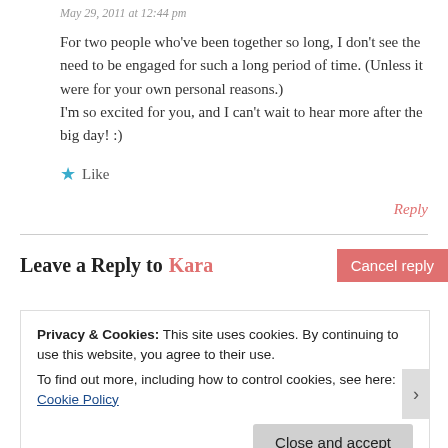May 29, 2011 at 12:44 pm
For two people who've been together so long, I don't see the need to be engaged for such a long period of time. (Unless it were for your own personal reasons.) I'm so excited for you, and I can't wait to hear more after the big day! :)
★ Like
Reply
Leave a Reply to Kara   Cancel reply
Privacy & Cookies: This site uses cookies. By continuing to use this website, you agree to their use.
To find out more, including how to control cookies, see here: Cookie Policy
Close and accept